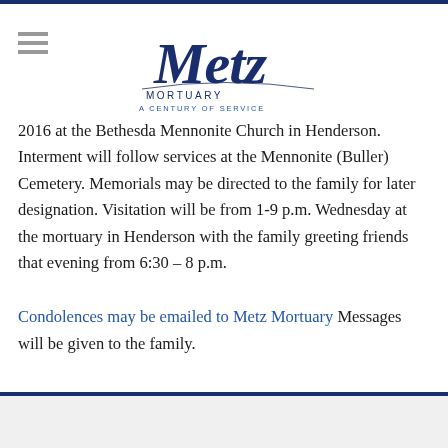Metz Mortuary — A Century of Service
2016 at the Bethesda Mennonite Church in Henderson. Interment will follow services at the Mennonite (Buller) Cemetery. Memorials may be directed to the family for later designation. Visitation will be from 1-9 p.m. Wednesday at the mortuary in Henderson with the family greeting friends that evening from 6:30 – 8 p.m.
Condolences may be emailed to Metz Mortuary Messages will be given to the family.